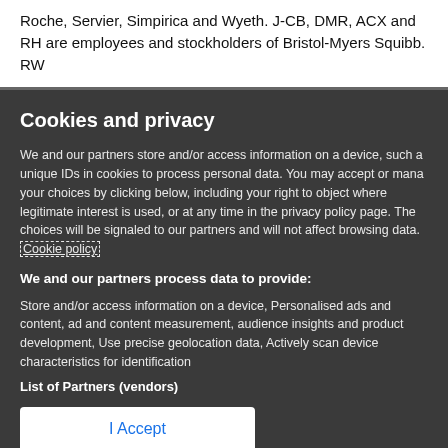Roche, Servier, Simpirica and Wyeth. J-CB, DMR, ACX and RH are employees and stockholders of Bristol-Myers Squibb. RW
Cookies and privacy
We and our partners store and/or access information on a device, such a unique IDs in cookies to process personal data. You may accept or manage your choices by clicking below, including your right to object where legitimate interest is used, or at any time in the privacy policy page. These choices will be signaled to our partners and will not affect browsing data. Cookie policy
We and our partners process data to provide:
Store and/or access information on a device, Personalised ads and content, ad and content measurement, audience insights and product development, Use precise geolocation data, Actively scan device characteristics for identification
List of Partners (vendors)
I Accept